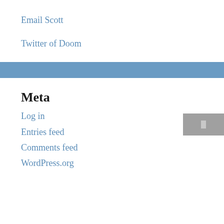Email Scott
Twitter of Doom
Meta
Log in
Entries feed
Comments feed
WordPress.org